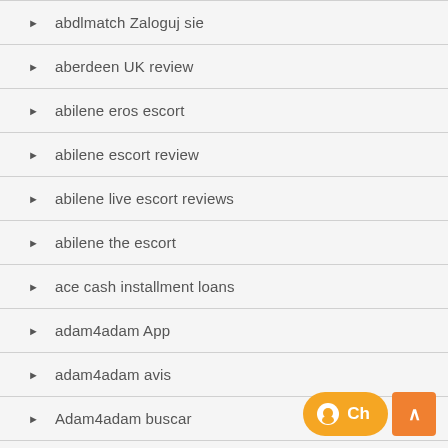abdlmatch Zaloguj sie
aberdeen UK review
abilene eros escort
abilene escort review
abilene live escort reviews
abilene the escort
ace cash installment loans
adam4adam App
adam4adam avis
Adam4adam buscar